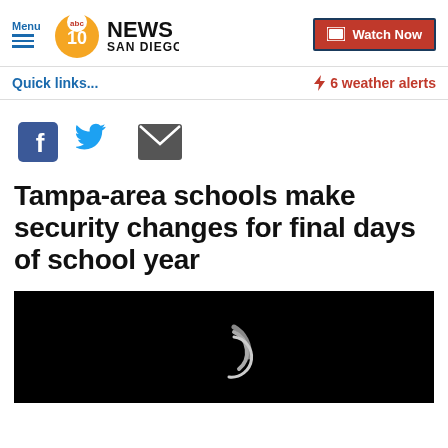Menu | abc 10 NEWS SAN DIEGO | Watch Now
Quick links...
⚡ 6 weather alerts
[Figure (other): Social share icons: Facebook, Twitter, Email]
Tampa-area schools make security changes for final days of school year
[Figure (other): Black video thumbnail with loading spinner arc]